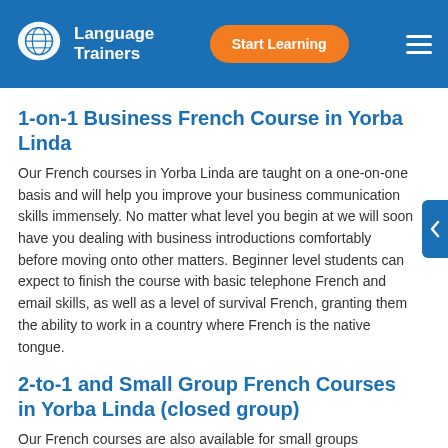[Figure (logo): Language Trainers logo with globe/speech bubble icon, white text on blue header background]
Language Trainers — Start Learning
1-on-1 Business French Course in Yorba Linda
Our French courses in Yorba Linda are taught on a one-on-one basis and will help you improve your business communication skills immensely. No matter what level you begin at we will soon have you dealing with business introductions comfortably before moving onto other matters. Beginner level students can expect to finish the course with basic telephone French and email skills, as well as a level of survival French, granting them the ability to work in a country where French is the native tongue.
2-to-1 and Small Group French Courses in Yorba Linda (closed group)
Our French courses are also available for small groups studying together (2-to-1 or French Courses in a S...